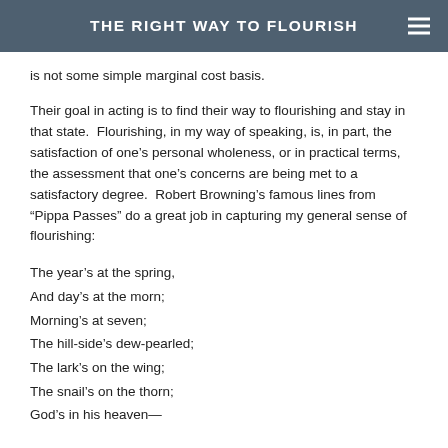THE RIGHT WAY TO FLOURISH
is not some simple marginal cost basis.
Their goal in acting is to find their way to flourishing and stay in that state.  Flourishing, in my way of speaking, is, in part, the satisfaction of one’s personal wholeness, or in practical terms, the assessment that one’s concerns are being met to a satisfactory degree.  Robert Browning’s famous lines from “Pippa Passes” do a great job in capturing my general sense of flourishing:
The year’s at the spring,
And day’s at the morn;
Morning’s at seven;
The hill-side’s dew-pearled;
The lark’s on the wing;
The snail’s on the thorn;
God’s in his heaven—